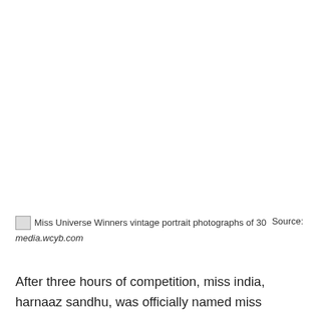[Figure (photo): Broken/missing image placeholder for Miss Universe Winners vintage portrait photographs of 30]
Miss Universe Winners vintage portrait photographs of 30  Source: media.wcyb.com
After three hours of competition, miss india, harnaaz sandhu, was officially named miss universe 2021. Miss universe 2021 harnaaz kaur sandhu, 21, of india is expected to crown her successor in